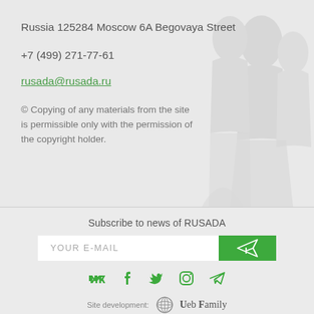Russia 125284 Moscow 6A Begovaya Street
+7 (499) 271-77-61
rusada@rusada.ru
© Copying of any materials from the site is permissible only with the permission of the copyright holder.
Subscribe to news of RUSADA
YOUR E-MAIL
[Figure (infographic): Social media icons row: VK, Facebook, Twitter, Instagram, Telegram — all in green]
Site development: Web Family